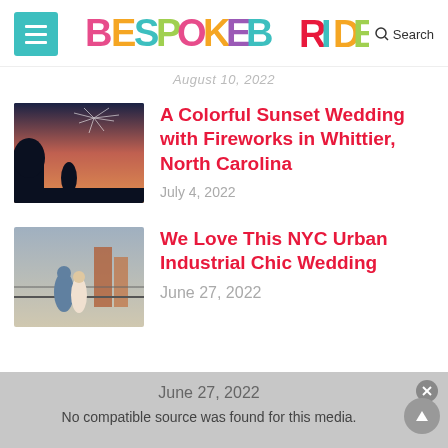BESPOKE BRIDE — Search
August 10, 2022
[Figure (photo): Couple at sunset with fireworks in the background]
A Colorful Sunset Wedding with Fireworks in Whittier, North Carolina
July 4, 2022
[Figure (photo): Couple embracing at an urban industrial venue]
We Love This NYC Urban Industrial Chic Wedding
June 27, 2022
No compatible source was found for this media.